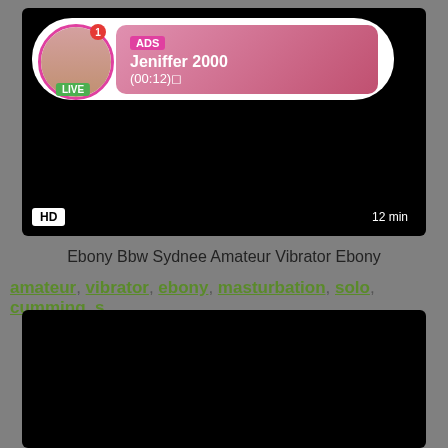[Figure (screenshot): Video player with black background showing an ad overlay. The overlay contains a circular avatar with a pink border and LIVE badge, a notification badge showing '1', and a pink gradient card showing 'ADS', 'Jeniffer 2000', '(00:12)'. Bottom left has HD badge, bottom right shows '12 min'.]
Ebony Bbw Sydnee Amateur Vibrator Ebony
amateur, vibrator, ebony, masturbation, solo, cumming, s...
[Figure (screenshot): Second video thumbnail with black background.]